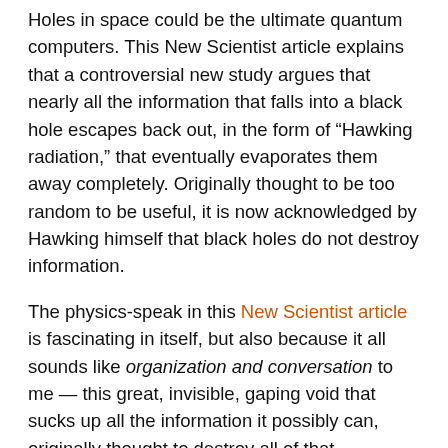Holes in space could be the ultimate quantum computers. This New Scientist article explains that a controversial new study argues that nearly all the information that falls into a black hole escapes back out, in the form of “Hawking radiation,” that eventually evaporates them away completely. Originally thought to be too random to be useful, it is now acknowledged by Hawking himself that black holes do not destroy information.
The physics-speak in this New Scientist article is fascinating in itself, but also because it all sounds like organization and conversation to me — this great, invisible, gaping void that sucks up all the information it possibly can, originally thought to destroy all of that information, creating chaos, unless it was harnessed, controlled and directed.
What I’m hearing in the physics of organization is that the